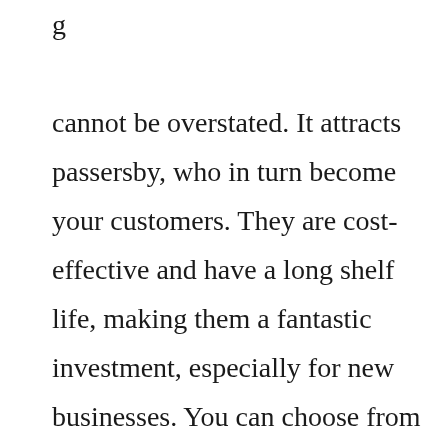g

cannot be overstated. It attracts passersby, who in turn become your customers. They are cost-effective and have a long shelf life, making them a fantastic investment, especially for new businesses. You can choose from two different styles, with the latter being printed on 13 oz. Premium Scrim Matte or Glossy Vinyl and the former on 10 oz. Premium Mesh Vinyl. The banners are finished with brass grommets, which give them a professional and elegant look. Contact